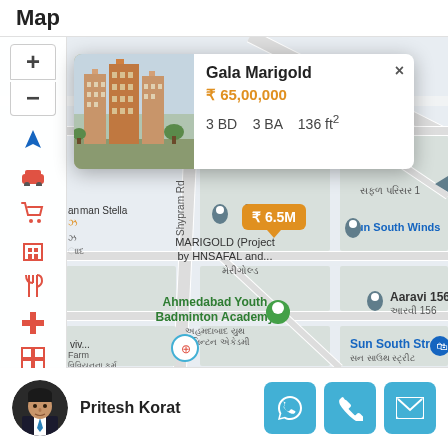Map
[Figure (map): Street map of Ahmedabad area showing Shypram Rd, hi Crest Rd, Sun South Winds, Aaravi 156, Ahmedabad Youth Badminton Academy, Farm locations, with map controls sidebar and property price pin ₹ 6.5M]
Gala Marigold
₹ 65,00,000
3 BD   3 BA   136 ft²
Pritesh Korat